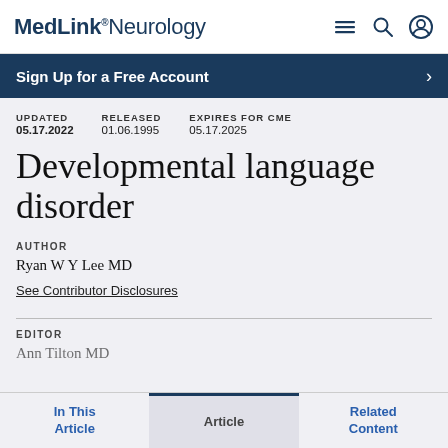MedLink® Neurology
Sign Up for a Free Account
UPDATED 05.17.2022  RELEASED 01.06.1995  EXPIRES FOR CME 05.17.2025
Developmental language disorder
AUTHOR
Ryan W Y Lee MD
See Contributor Disclosures
EDITOR
Ann Tilton MD
In This Article   Article   Related Content